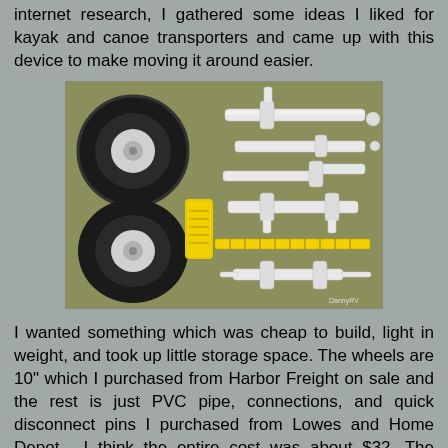internet research, I gathered some ideas I liked for kayak and canoe transporters and came up with this device to make moving it around easier.
[Figure (photo): Flat lay photo on grass showing PVC pipe components, fittings, two large black pneumatic wheels with white rims, a yellow rope, a yellow measuring tape, and quick disconnect pins — the disassembled parts of a homemade kayak/canoe cart.]
I wanted something which was cheap to build, light in weight, and took up little storage space. The wheels are 10" which I purchased from Harbor Freight on sale and the rest is just PVC pipe, connections, and quick disconnect pins I purchased from Lowes and Home Depot.  I think the entire cost was about $32. The neatest thing in the whole design is the ability to break the entire cart down into small pieces which can be put into a storage bag.